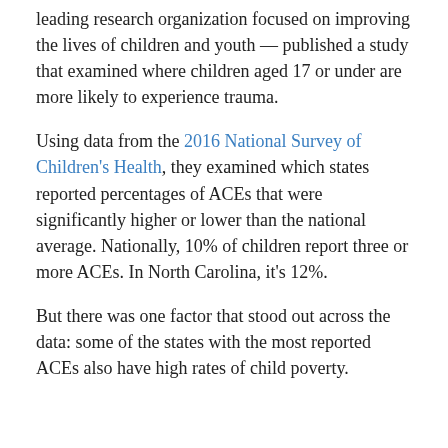leading research organization focused on improving the lives of children and youth — published a study that examined where children aged 17 or under are more likely to experience trauma.
Using data from the 2016 National Survey of Children's Health, they examined which states reported percentages of ACEs that were significantly higher or lower than the national average. Nationally, 10% of children report three or more ACEs. In North Carolina, it's 12%.
But there was one factor that stood out across the data: some of the states with the most reported ACEs also have high rates of child poverty.